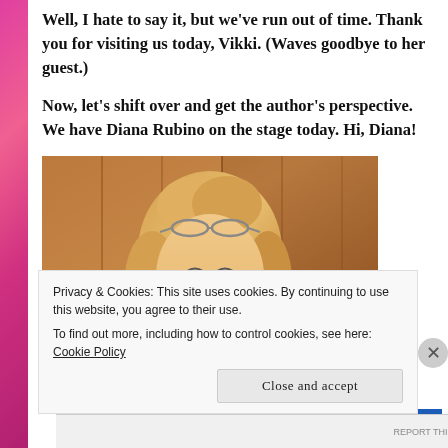Well, I hate to say it, but we've run out of time. Thank you for visiting us today, Vikki.  (Waves goodbye to her guest.)
Now, let's shift over and get the author's perspective.  We have Diana Rubino on the stage today. Hi, Diana!
[Figure (photo): Photo of Diana Rubino, a woman with blonde hair and glasses on her head, smiling, with a wood-panel background.]
Privacy & Cookies: This site uses cookies. By continuing to use this website, you agree to their use.
To find out more, including how to control cookies, see here: Cookie Policy
Close and accept